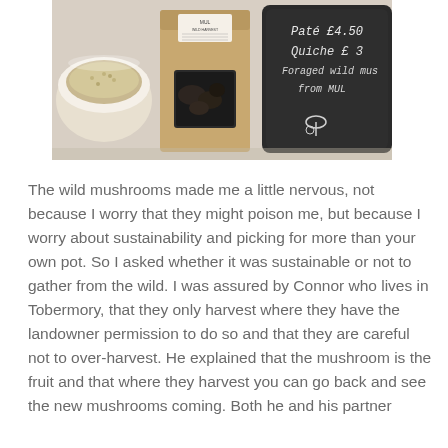[Figure (photo): A photograph showing foraged wild mushroom products on a table: a bowl of dried mushrooms on the left, a brown paper bag with a window showing dried dark mushrooms in the middle, and a slate board on the right with chalk text reading 'Pate £4.50 Quiche £3 Foraged wild must from MUL' with a mushroom icon.]
The wild mushrooms made me a little nervous, not because I worry that they might poison me, but because I worry about sustainability and picking for more than your own pot. So I asked whether it was sustainable or not to gather from the wild. I was assured by Connor who lives in Tobermory, that they only harvest where they have the landowner permission to do so and that they are careful not to over-harvest. He explained that the mushroom is the fruit and that where they harvest you can go back and see the new mushrooms coming. Both he and his partner